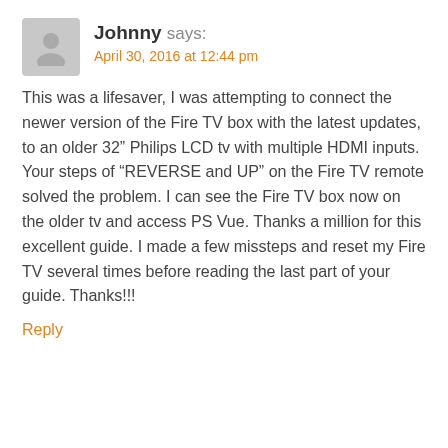[Figure (illustration): Grey placeholder avatar icon showing a generic person silhouette]
Johnny says:
April 30, 2016 at 12:44 pm
This was a lifesaver, I was attempting to connect the newer version of the Fire TV box with the latest updates, to an older 32" Philips LCD tv with multiple HDMI inputs. Your steps of “REVERSE and UP” on the Fire TV remote solved the problem. I can see the Fire TV box now on the older tv and access PS Vue. Thanks a million for this excellent guide. I made a few missteps and reset my Fire TV several times before reading the last part of your guide. Thanks!!!
Reply